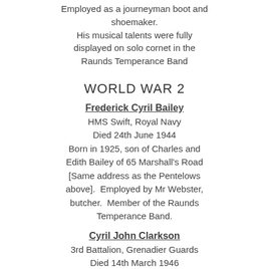Employed as a journeyman boot and shoemaker. His musical talents were fully displayed on solo cornet in the Raunds Temperance Band
WORLD WAR 2
Frederick Cyril Bailey
HMS Swift, Royal Navy
Died 24th June 1944
Born in 1925, son of Charles and Edith Bailey of 65 Marshall's Road [Same address as the Pentelows above]. Employed by Mr Webster, butcher. Member of the Raunds Temperance Band.
Cyril John Clarkson
3rd Battalion, Grenadier Guards
Died 14th March 1946